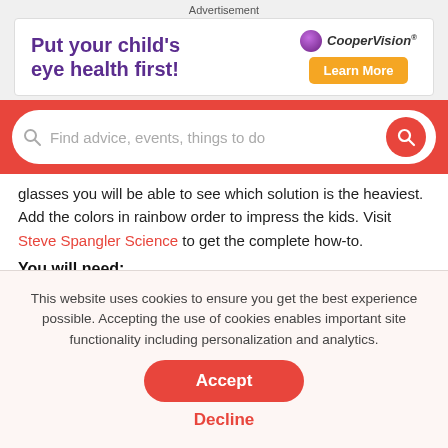Advertisement
[Figure (other): CooperVision advertisement banner with purple bold text 'Put your child's eye health first!' and an orange 'Learn More' button with CooperVision logo.]
[Figure (screenshot): Red search bar with placeholder text 'Find advice, events, things to do' and a red circular search button on the right.]
glasses you will be able to see which solution is the heaviest. Add the colors in rainbow order to impress the kids. Visit Steve Spangler Science to get the complete how-to.
You will need:
This website uses cookies to ensure you get the best experience possible. Accepting the use of cookies enables important site functionality including personalization and analytics.
Accept
Decline